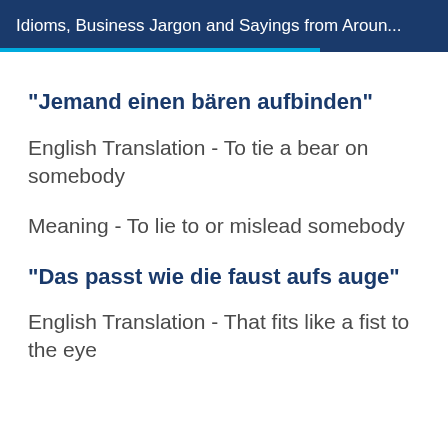Idioms, Business Jargon and Sayings from Aroun...
"Jemand einen bären aufbinden"
English Translation - To tie a bear on somebody
Meaning - To lie to or mislead somebody
"Das passt wie die faust aufs auge"
English Translation - That fits like a fist to the eye